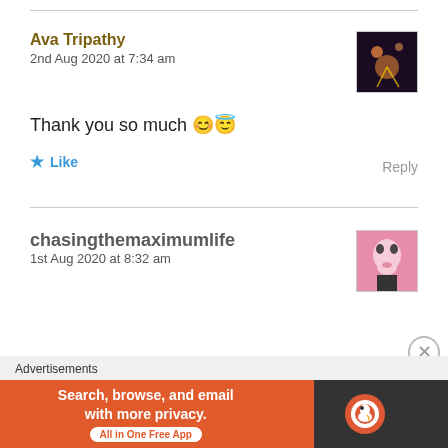Ava Tripathy
2nd Aug 2020 at 7:34 am
Thank you so much 😊😇
★ Like
Reply
chasingthemaximumlife
1st Aug 2020 at 8:32 am
Advertisements
Search, browse, and email with more privacy. All in One Free App